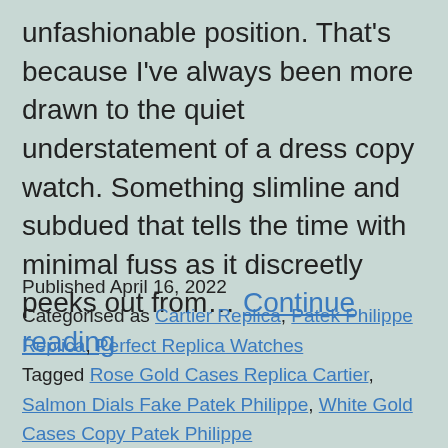unfashionable position. That's because I've always been more drawn to the quiet understatement of a dress copy watch. Something slimline and subdued that tells the time with minimal fuss as it discreetly peeks out from… Continue reading
Published April 16, 2022
Categorised as Cartier Replica, Patek Philippe Replica, Perfect Replica Watches
Tagged Rose Gold Cases Replica Cartier, Salmon Dials Fake Patek Philippe, White Gold Cases Copy Patek Philippe